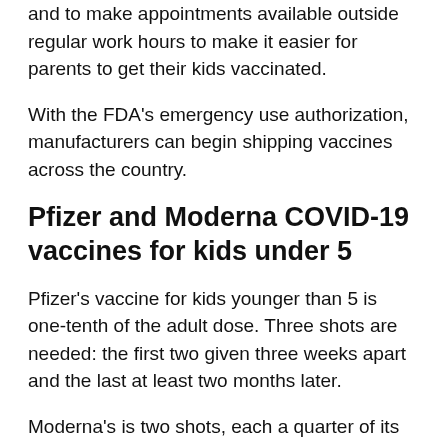and to make appointments available outside regular work hours to make it easier for parents to get their kids vaccinated.
With the FDA's emergency use authorization, manufacturers can begin shipping vaccines across the country.
Pfizer and Moderna COVID-19 vaccines for kids under 5
Pfizer's vaccine for kids younger than 5 is one-tenth of the adult dose. Three shots are needed: the first two given three weeks apart and the last at least two months later.
Moderna's is two shots, each a quarter of its adult dose, given about four weeks apart for kids under 6.